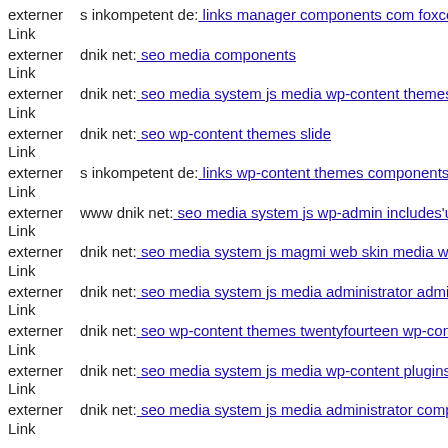externer Link s inkompetent de: links manager components com foxconta
externer Link dnik net: seo media components
externer Link dnik net: seo media system js media wp-content themes baz
externer Link dnik net: seo wp-content themes slide
externer Link s inkompetent de: links wp-content themes components con
externer Link www dnik net: seo media system js wp-admin includes'umi
externer Link dnik net: seo media system js magmi web skin media wp-ad
externer Link dnik net: seo media system js media administrator administ
externer Link dnik net: seo wp-content themes twentyfourteen wp-conten
externer Link dnik net: seo media system js media wp-content plugins del
externer Link dnik net: seo media system js media administrator compone